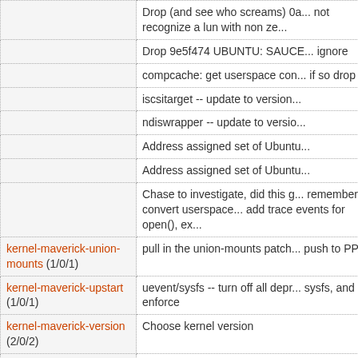| Package | Description |
| --- | --- |
|  | Drop (and see who screams) 0a... not recognize a lun with non ze... |
|  | Drop 9e5f474 UBUNTU: SAUCE... ignore |
|  | compcache: get userspace con... if so drop |
|  | iscsitarget -- update to version... |
|  | ndiswrapper -- update to versio... |
|  | Address assigned set of Ubuntu... |
|  | Address assigned set of Ubuntu... |
|  | Chase to investigate, did this g... remember to convert userspace... add trace events for open(), ex... |
| kernel-maverick-union-mounts (1/0/1) | pull in the union-mounts patch... push to PPA |
| kernel-maverick-upstart (1/0/1) | uevent/sysfs -- turn off all depr... sysfs, and enforce |
| kernel-maverick-version (2/0/2) | Choose kernel version |
|  | Publish Decision to ubuntu-dev... |
| security-m-kernel-... |  |